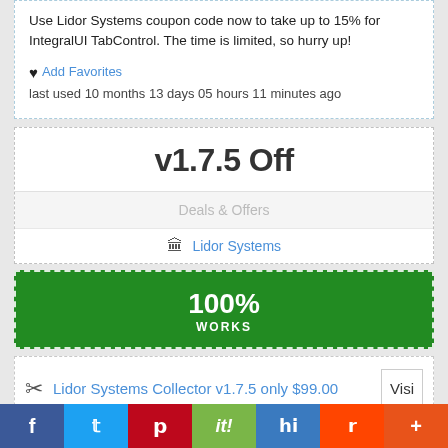Use Lidor Systems coupon code now to take up to 15% for IntegralUI TabControl. The time is limited, so hurry up!
♥ Add Favorites last used 10 months 13 days 05 hours 11 minutes ago
v1.7.5 Off
Deals & Offers
🏛 Lidor Systems
100% WORKS
Lidor Systems Collector v1.7.5 only $99.00
Visi
f  twitter  pinterest  it!  hh  reddit  +